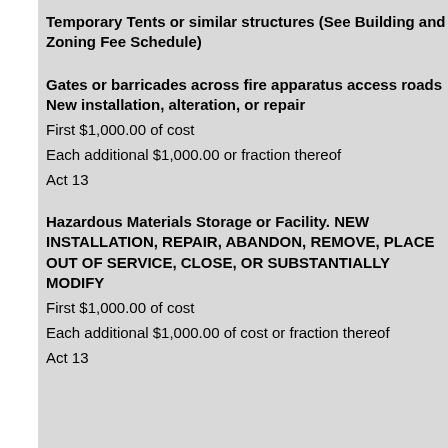Temporary Tents or similar structures (See Building and Zoning Fee Schedule)
Gates or barricades across fire apparatus access roads New installation, alteration, or repair
First $1,000.00 of cost
Each additional $1,000.00 or fraction thereof
Act 13
Hazardous Materials Storage or Facility. NEW INSTALLATION, REPAIR, ABANDON, REMOVE, PLACE OUT OF SERVICE, CLOSE, OR SUBSTANTIALLY MODIFY
First $1,000.00 of cost
Each additional $1,000.00 of cost or fraction thereof
Act 13